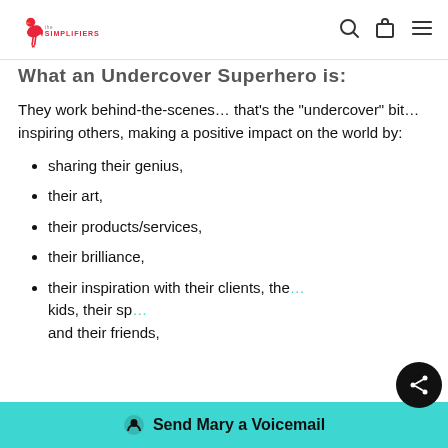The Simplifiers [logo] [search] [cart] [menu]
What an Undercover Superhero is:
They work behind-the-scenes… that's the "undercover" bit… inspiring others, making a positive impact on the world by:
sharing their genius,
their art,
their products/services,
their brilliance,
their inspiration with their clients, their kids, their sp... and their friends,